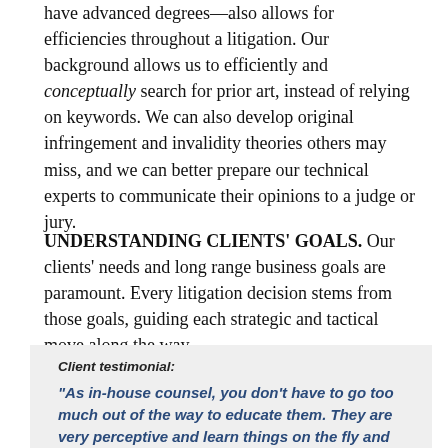have advanced degrees—also allows for efficiencies throughout a litigation. Our background allows us to efficiently and conceptually search for prior art, instead of relying on keywords. We can also develop original infringement and invalidity theories others may miss, and we can better prepare our technical experts to communicate their opinions to a judge or jury.
UNDERSTANDING CLIENTS' GOALS. Our clients' needs and long range business goals are paramount. Every litigation decision stems from those goals, guiding each strategic and tactical move along the way.
Client testimonial:
"As in-house counsel, you don't have to go too much out of the way to educate them. They are very perceptive and learn things on the fly and they have a lot of continuity with